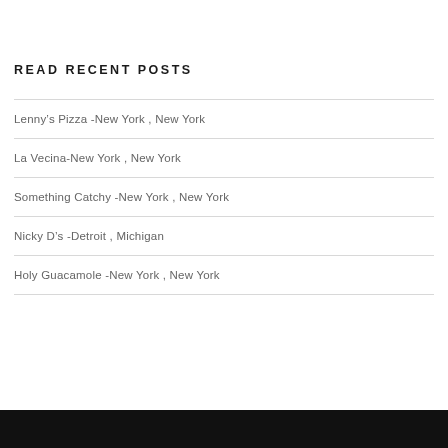READ RECENT POSTS
Lenny's Pizza -New York , New York
La Vecina-New York , New York
Something Catchy -New York , New York
Nicky D's -Detroit , Michigan
Holy Guacamole -New York , New York